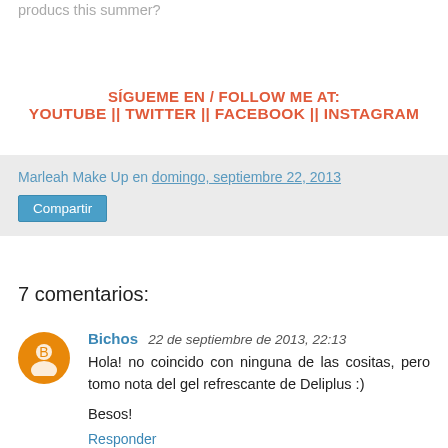producs this summer?
SÍGUEME EN / FOLLOW ME AT:
YOUTUBE || TWITTER || FACEBOOK || INSTAGRAM
Marleah Make Up en domingo, septiembre 22, 2013
Compartir
7 comentarios:
Bichos 22 de septiembre de 2013, 22:13
Hola! no coincido con ninguna de las cositas, pero tomo nota del gel refrescante de Deliplus :)

Besos!

Responder